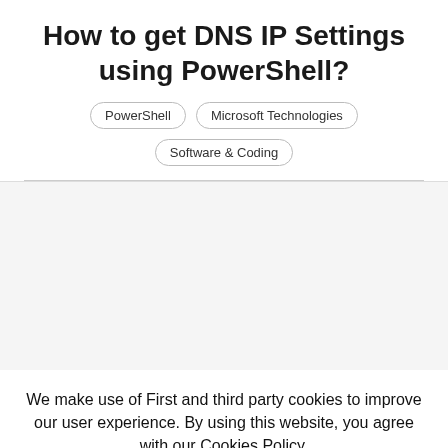How to get DNS IP Settings using PowerShell?
PowerShell
Microsoft Technologies
Software & Coding
We make use of First and third party cookies to improve our user experience. By using this website, you agree with our Cookies Policy.
Agree
[Figure (screenshot): Advertisement banner with cm logo and navigation arrow icon]